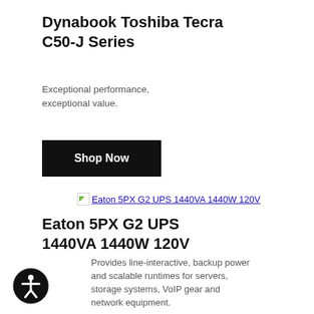Dynabook Toshiba Tecra C50-J Series
Exceptional performance, exceptional value.
Shop Now
[Figure (other): Broken image placeholder with link text: Eaton 5PX G2 UPS 1440VA 1440W 120V]
Eaton 5PX G2 UPS 1440VA 1440W 120V
Provides line-interactive, backup power and scalable runtimes for servers, storage systems, VoIP gear and network equipment.
[Figure (illustration): Accessibility icon - circular badge with person figure in white on black background]